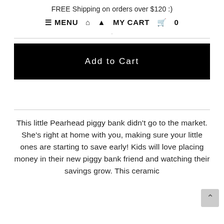FREE Shipping on orders over $120 :)
≡ MENU  ⌂  👤  MY CART  🛒  0
Add to Cart
This little Pearhead piggy bank didn't go to the market. She's right at home with you, making sure your little ones are starting to save early! Kids will love placing money in their new piggy bank friend and watching their savings grow. This ceramic...